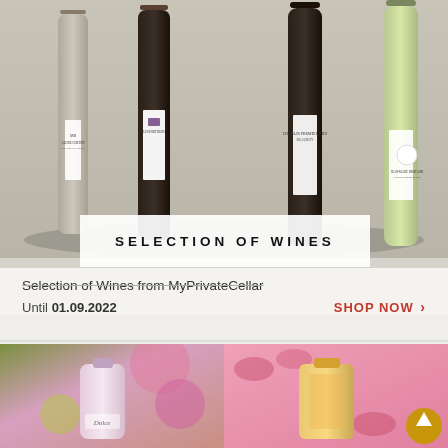[Figure (photo): Four wine bottles photographed against a muted background: a red Aloxe-Corton Premier Cru, a dark red Les Heritiers wine, a Chablis Premier Cru Beauroy, and a Jean-Marc Brocard Chablis Premier Cru white wine]
SELECTION OF WINES
Selection of Wines from MyPrivateCellar
Until 01.09.2022
SHOP NOW >
[Figure (photo): Close-up of Dolce & Gabbana perfume bottle surrounded by pink flowers and green apples]
[Figure (photo): Lipstick-colored perfume bottle with gold accents against a pink background with lip prints]